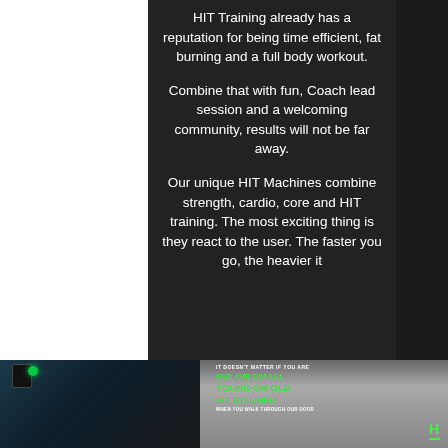HIT Training already has a reputation for being time efficient, fat burning and a full body workout.
Combine that with fun, Coach lead session and a welcoming community, results will not be far away.
Our unique HIT Machines combine strength, cardio, core and HIT training. The most exciting thing is they react to the user. The faster you go, the heavier it
[Figure (photo): Bottom half shows two photos side by side: left is a dark gym interior with green light and speaker; right is a group of people flexing muscles with green text overlay reading 'IT DOESN'T MATTER IF YOU ARE BIG OR SMALL YOUNG OR OLD FIT OR UNFIT WHEN YOU WALK THROUGH OUR DOOR' and a HIT logo.]